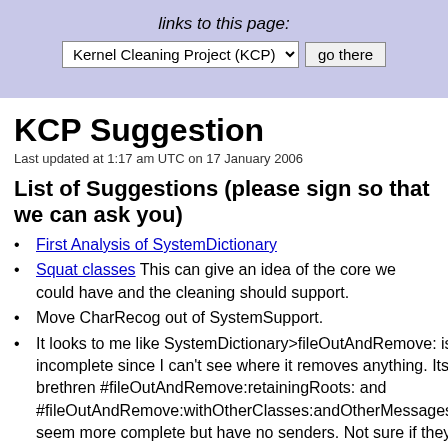links to this page: Kernel Cleaning Project (KCP) [dropdown] go there
KCP Suggestion
Last updated at 1:17 am UTC on 17 January 2006
List of Suggestions (please sign so that we can ask you)
First Analysis of SystemDictionary
Squat classes This can give an idea of the core we could have and the cleaning should support.
Move CharRecog out of SystemSupport.
It looks to me like SystemDictionary>fileOutAndRemove: is incomplete since I can't see where it removes anything. Its brethren #fileOutAndRemove:retainingRoots: and #fileOutAndRemove:withOtherClasses:andOtherMessages: seem more complete but have no senders. Not sure if they should stay or go. Anyone got any ideas? (tim)
Look at the builder problem: